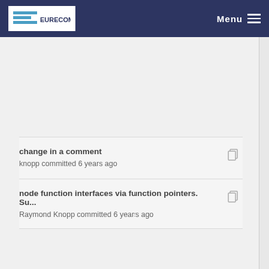EURECOM — Menu
change in a comment
knopp committed 6 years ago
node function interfaces via function pointers. Su...
Raymond Knopp committed 6 years ago